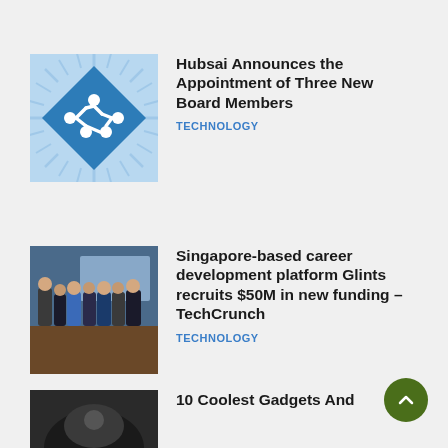[Figure (logo): Hubsai logo: blue diamond shape with circuit/network path icon and sunburst background]
Hubsai Announces the Appointment of Three New Board Members
TECHNOLOGY
[Figure (photo): Group photo of several people in business attire standing together indoors]
Singapore-based career development platform Glints recruits $50M in new funding – TechCrunch
TECHNOLOGY
[Figure (photo): Partially visible image at the bottom of the page]
10 Coolest Gadgets And